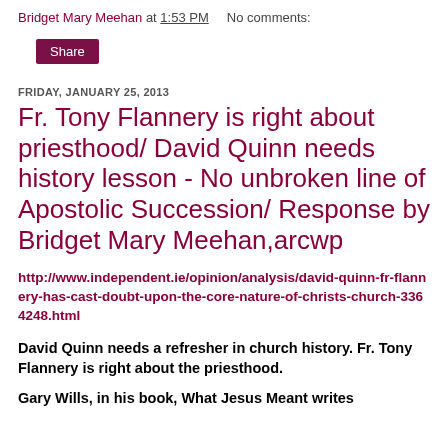Bridget Mary Meehan at 1:53 PM   No comments:
Share
FRIDAY, JANUARY 25, 2013
Fr. Tony Flannery is right about priesthood/ David Quinn needs history lesson - No unbroken line of Apostolic Succession/ Response by Bridget Mary Meehan,arcwp
http://www.independent.ie/opinion/analysis/david-quinn-fr-flannery-has-cast-doubt-upon-the-core-nature-of-christs-church-3364248.html
David Quinn needs a refresher in church history. Fr. Tony Flannery is right about the priesthood.
Gary Wills, in his book, What Jesus Meant writes